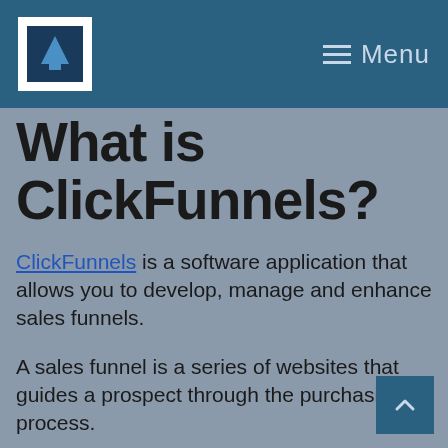Menu
What is ClickFunnels?
ClickFunnels is a software application that allows you to develop, manage and enhance sales funnels.
A sales funnel is a series of websites that guides a prospect through the purchasing process.
You can utilize ClickFunnels to develop landing pages, collect email addresses and send automated e-mails, among other things.